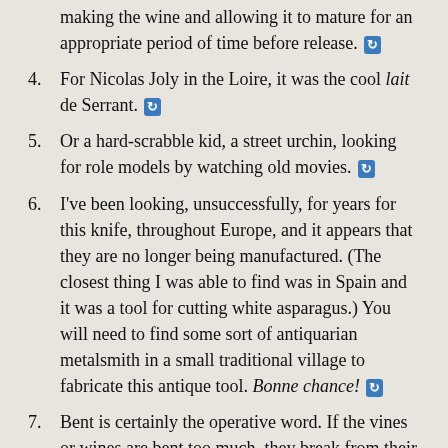making the wine and allowing it to mature for an appropriate period of time before release. [↩]
4. For Nicolas Joly in the Loire, it was the cool lait de Serrant. [↩]
5. Or a hard-scrabble kid, a street urchin, looking for role models by watching old movies. [↩]
6. I've been looking, unsuccessfully, for years for this knife, throughout Europe, and it appears that they are no longer being manufactured. (The closest thing I was able to find was in Spain and it was a tool for cutting white asparagus.) You will need to find some sort of antiquarian metalsmith in a small traditional village to fabricate this antique tool. Bonne chance! [↩]
7. Bent is certainly the operative word. If the vines or wines are bent too much, they break from their own true originality, and become lesser for that. In the example of human relationships, if one partner's...